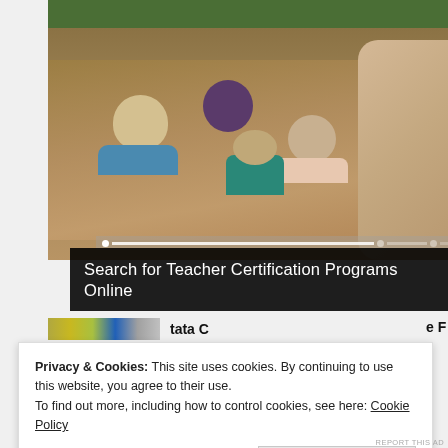[Figure (photo): Classroom photo showing students seated at desks from behind, with a teacher standing at the right side with arms crossed, and a chalkboard visible at the back.]
Search for Teacher Certification Programs Online
Privacy & Cookies: This site uses cookies. By continuing to use this website, you agree to their use.
To find out more, including how to control cookies, see here: Cookie Policy
Close and accept